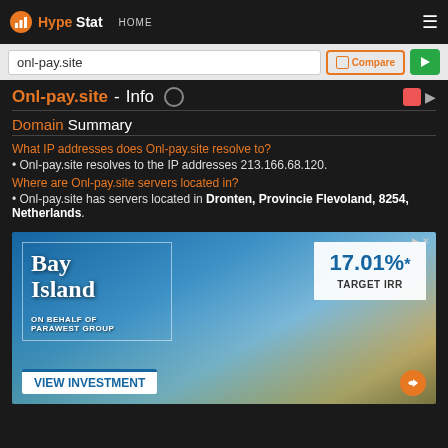HypeStat HOME
onl-pay.site
Onl-pay.site - Info
Domain Summary
What IP addresses does Onl-pay.site resolve to?
• Onl-pay.site resolves to the IP addresses 213.166.68.120.
Where are Onl-pay.site servers located in?
• Onl-pay.site has servers located in Dronten, Provincie Flevoland, 8254, Netherlands.
[Figure (other): Advertisement banner for Bay Island investment opportunity showing 17.01% Target IRR, on behalf of Parawest Group, with VIEW INVESTMENT call to action]